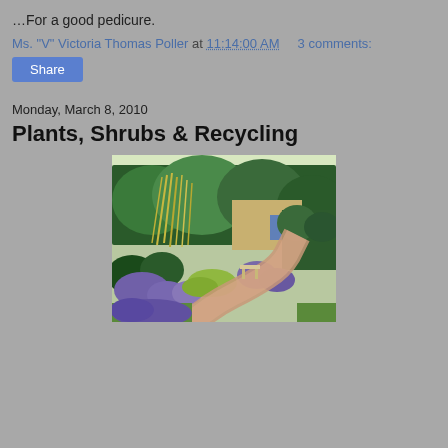…For a good pedicure.
Ms. "V" Victoria Thomas Poller at 11:14:00 AM    3 comments:
Share
Monday, March 8, 2010
Plants, Shrubs & Recycling
[Figure (photo): A lush garden path with ornamental grasses, lavender, green shrubs, a stone bench, and a building with a blue door in the background, along a winding pinkish gravel path.]